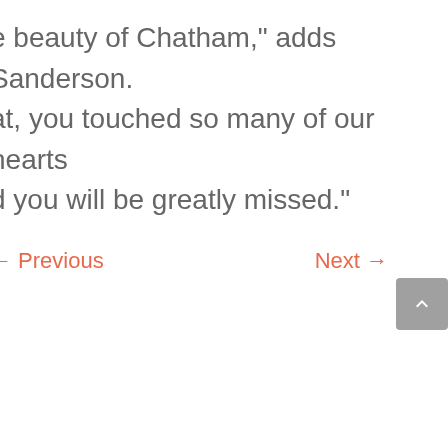e beauty of Chatham," adds Sanderson. at, you touched so many of our hearts d you will be greatly missed."
← Previous
Next →